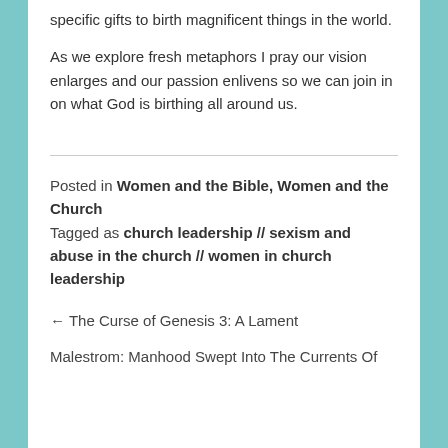specific gifts to birth magnificent things in the world.
As we explore fresh metaphors I pray our vision enlarges and our passion enlivens so we can join in on what God is birthing all around us.
Posted in Women and the Bible, Women and the Church
Tagged as church leadership // sexism and abuse in the church // women in church leadership
← The Curse of Genesis 3: A Lament
Malestrom: Manhood Swept Into The Currents Of